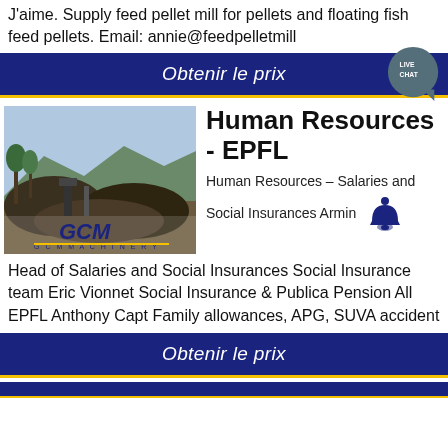J'aime. Supply feed pellet mill for pellets and floating fish feed pellets. Email: annie@feedpelletmill
[Figure (infographic): Dark blue button bar with white italic text 'Obtenir le prix' and a teal live chat badge on the right]
[Figure (photo): Outdoor industrial scene with gravel/stone piles, machinery, trees in background. GCM Machinery logo visible at bottom.]
Human Resources - EPFL
Human Resources – Salaries and Social Insurances Armin …
Head of Salaries and Social Insurances Social Insurance team Eric Vionnet Social Insurance & Publica Pension All EPFL Anthony Capt Family allowances, APG, SUVA accident
[Figure (infographic): Dark blue button bar with white italic text 'Obtenir le prix']
[Figure (infographic): Partial dark blue strip at bottom of page]